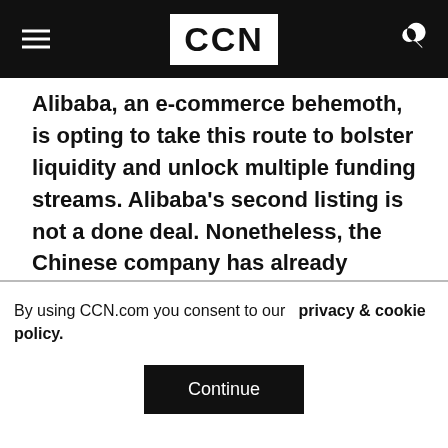CCN
Alibaba, an e-commerce behemoth, is opting to take this route to bolster liquidity and unlock multiple funding streams. Alibaba's second listing is not a done deal. Nonetheless, the Chinese company has already sought the advice of financial advisors regarding the listing, which might happen later this year.
They have long been interested in a local listing, and tensions between the U.S. and China may have given them the push they needed. Alibaba
By using CCN.com you consent to our  privacy & cookie policy.
Continue